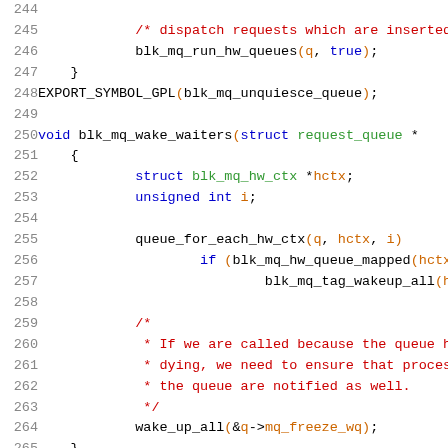[Figure (screenshot): Source code listing showing C kernel code for blk_mq_wake_waiters function, lines 244-265, with syntax highlighting. Line numbers in gray, keywords in blue, comments in red, strings/variables in orange.]